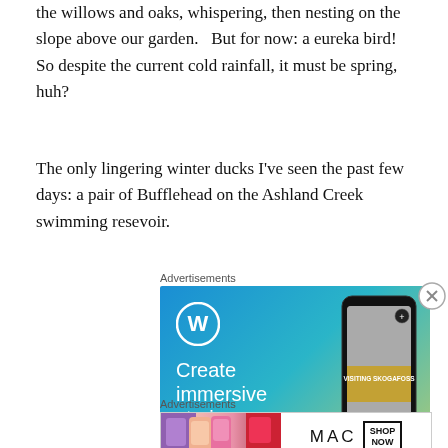the willows and oaks, whispering, then nesting on the slope above our garden.   But for now: a eureka bird!  So despite the current cold rainfall, it must be spring, huh?
The only lingering winter ducks I've seen the past few days: a pair of Bufflehead on the Ashland Creek swimming resevoir.
Advertisements
[Figure (illustration): WordPress advertisement: blue gradient background with WordPress logo (W in circle), text 'Create immersive stories.' in white, and a phone mockup showing 'VISITING SKOGAFOSS' waterfall image]
Advertisements
[Figure (illustration): MAC cosmetics advertisement showing lipsticks on left, MAC wordmark in center, SHOP NOW box, and red lipstick on right]